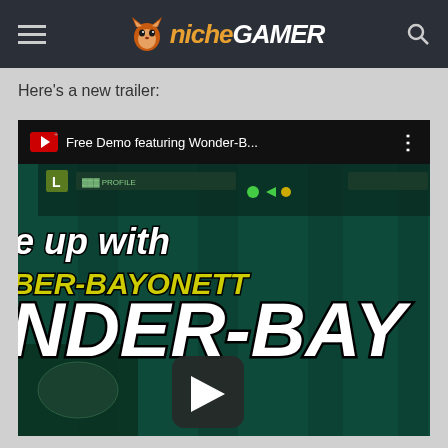Niche Gamer - navigation header with hamburger menu, logo, and search icon
Here's a new trailer:
[Figure (screenshot): Embedded YouTube video player showing a game trailer for 'Free Demo featuring Wonder-B...' with a game screenshot showing 'e up with NDER-BAY' text overlay in bold white italic font on a dark teal/green background, a character figure at bottom, a play button overlay, and a dark popup overlay with an X close button and loading circle on the right side.]